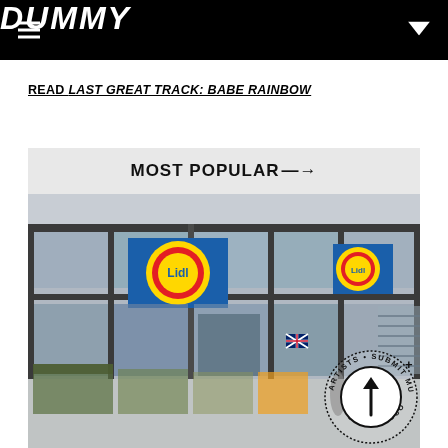DUMMY
READ LAST GREAT TRACK: BABE RAINBOW
MOST POPULAR→
[Figure (photo): Exterior photo of a Lidl supermarket store with large blue Lidl signs featuring the yellow circle logo, glass facade, and outdoor plant/produce displays in front. A circular badge overlay reads: ARTISTS • SUBMIT MUSIC with an upward arrow.]